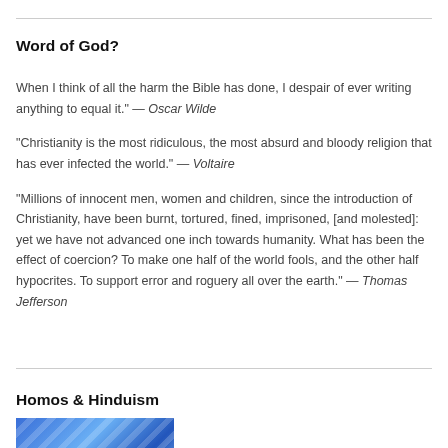Word of God?
When I think of all the harm the Bible has done, I despair of ever writing anything to equal it.” — Oscar Wilde
“Christianity is the most ridiculous, the most absurd and bloody religion that has ever infected the world.” — Voltaire
“Millions of innocent men, women and children, since the introduction of Christianity, have been burnt, tortured, fined, imprisoned, [and molested]: yet we have not advanced one inch towards humanity. What has been the effect of coercion? To make one half of the world fools, and the other half hypocrites. To support error and roguery all over the earth.” — Thomas Jefferson
Homos & Hinduism
[Figure (photo): Partial image of a blue and white abstract or decorative photograph, cropped at the bottom of the page]